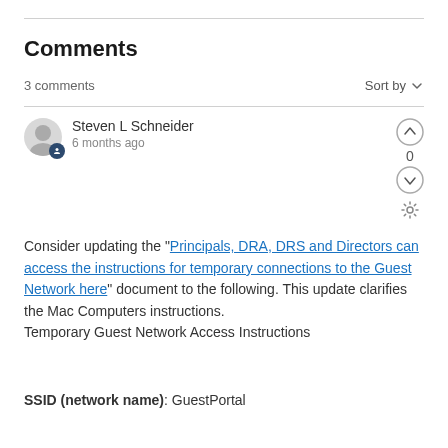Comments
3 comments
Sort by
Steven L Schneider
6 months ago
Consider updating the "Principals, DRA, DRS and Directors can access the instructions for temporary connections to the Guest Network here" document to the following. This update clarifies the Mac Computers instructions.
Temporary Guest Network Access Instructions
SSID (network name): GuestPortal